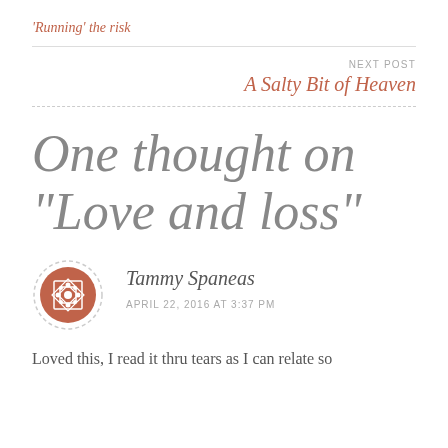'Running' the risk
NEXT POST
A Salty Bit of Heaven
One thought on “Love and loss”
Tammy Spaneas
APRIL 22, 2016 AT 3:37 PM
Loved this, I read it thru tears as I can relate so